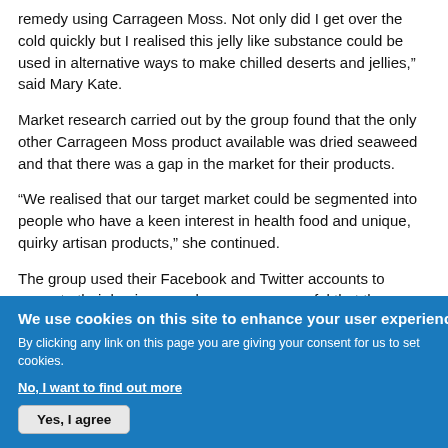remedy using Carrageen Moss. Not only did I get over the cold quickly but I realised this jelly like substance could be used in alternative ways to make chilled deserts and jellies,” said Mary Kate.
Market research carried out by the group found that the only other Carrageen Moss product available was dried seaweed and that there was a gap in the market for their products.
“We realised that our target market could be segmented into people who have a keen interest in health food and unique, quirky artisan products,” she continued.
The group used their Facebook and Twitter accounts to promote their business and were so successful that they were the fifth trending topic in Ireland on one occasion. They also met with celebrity chef Clodagh McKenna who gave her seal of approval to
We use cookies on this site to enhance your user experience
By clicking any link on this page you are giving your consent for us to set cookies.
No, I want to find out more
Yes, I agree